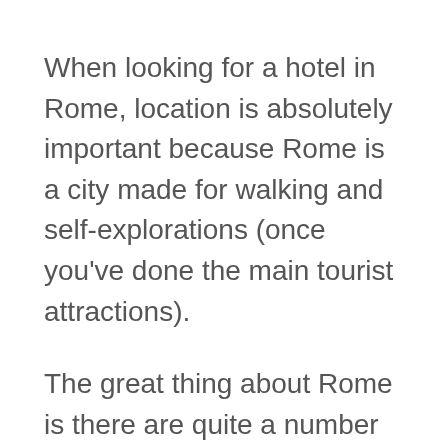When looking for a hotel in Rome, location is absolutely important because Rome is a city made for walking and self-explorations (once you've done the main tourist attractions).
The great thing about Rome is there are quite a number of hotels that offer both location and luxury, and Intercontinental De la Ville Roma is one of those which has a highly coveted location, and also offers fantastic service and comfort at the same time.